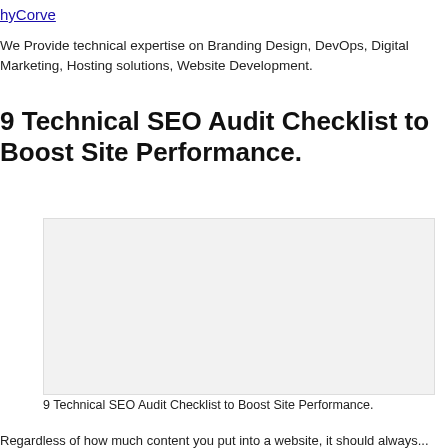hyCorve
We Provide technical expertise on Branding Design, DevOps, Digital Marketing, Hosting solutions, Website Development.
9 Technical SEO Audit Checklist to Boost Site Performance.
[Figure (photo): Light gray placeholder image for the article about 9 Technical SEO Audit Checklist to Boost Site Performance]
9 Technical SEO Audit Checklist to Boost Site Performance.
Regardless of how much content you put into a website, it should always...